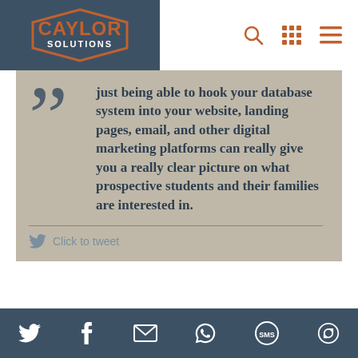Caylor Solutions — navigation header
[Figure (illustration): Pullquote block with large quotation marks on beige/tan background. Quote text: 'just being able to hook your database system into your website, landing pages, email, and other digital marketing platforms can really give you a really clear picture on what prospective students and their families are interested in.' followed by a Click to tweet link.]
2. Take your time.
It's natural that when you want to change
Social share bar: Twitter, Facebook, Email, WhatsApp, SMS, Repost